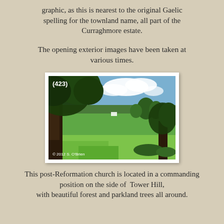graphic, as this is nearest to the original Gaelic spelling for the townland name, all part of the Curraghmore estate.
The opening exterior images have been taken at various times.
[Figure (photo): Landscape photograph numbered (423) showing green fields, trees, and blue sky with clouds, with a large tree trunk on the left side. Copyright 2012 S. O'Brien.]
This post-Reformation church is located in a commanding position on the side of Tower Hill, with beautiful forest and parkland trees all around.